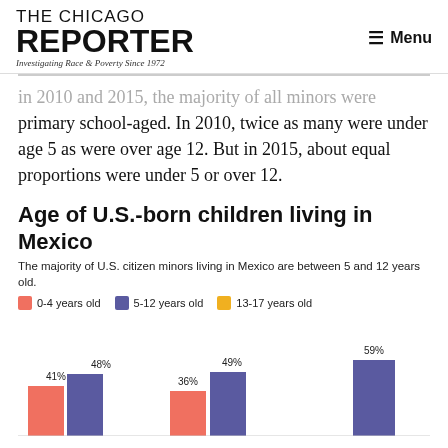THE CHICAGO REPORTER — Investigating Race & Poverty Since 1972 | Menu
in 2010 and 2015, the majority of all minors were primary school-aged. In 2010, twice as many were under age 5 as were over age 12. But in 2015, about equal proportions were under 5 or over 12.
Age of U.S.-born children living in Mexico
The majority of U.S. citizen minors living in Mexico are between 5 and 12 years old.
[Figure (grouped-bar-chart): Age of U.S.-born children living in Mexico]